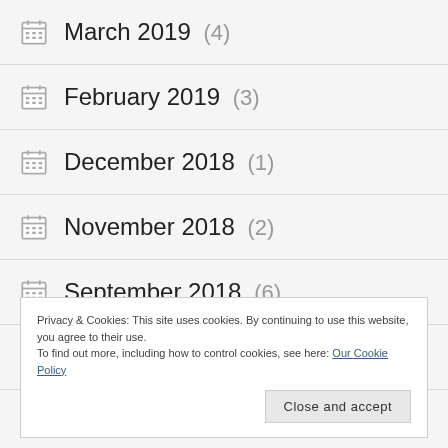March 2019 (4)
February 2019 (3)
December 2018 (1)
November 2018 (2)
September 2018 (6)
July 2018 (1)
Privacy & Cookies: This site uses cookies. By continuing to use this website, you agree to their use.
To find out more, including how to control cookies, see here: Our Cookie Policy
Close and accept